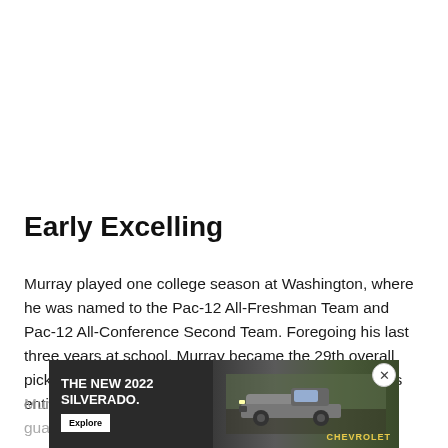Early Excelling
Murray played one college season at Washington, where he was named to the Pac-12 All-Freshman Team and Pac-12 All-Conference Second Team. Foregoing his last three years at school, Murray became the 29th overall pick in the 2016 NBA draft to the team he has spent his entire career with, the San Antonio Spurs.
Murray ... at the guard ...
[Figure (other): Chevrolet advertisement for the New 2022 Silverado showing a truck in an outdoor setting with an Explore button]